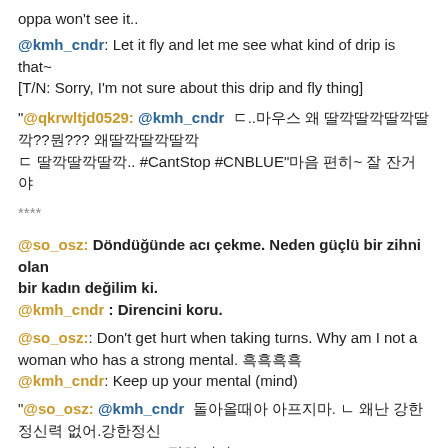oppa won't see it..
@kmh_cndr: Let it fly and let me see what kind of drip is that~ [T/N: Sorry, I'm not sure about this drip and fly thing]
"@qkrwltjd0529: @kmh_cndr  ㄷ..마우스 왜 딸깍딸깍딸깍딸깍??뭔??? 왜딸깍딸깍딸깍 ㄷ 딸깍딸깍딸깍.. #CantStop #CNBLUE"마음 편히~ 잘 잔거야
****
@so_osz: Döndüğünde acı çekme. Neden güçlü bir zihni olan bir kadın değilim ki.
@kmh_cndr : Direncini koru.
@so_osz:: Don't get hurt when taking turns. Why am I not a woman who has a strong mental. 흑흑흑흑
@kmh_cndr: Keep up your mental (mind)
"@so_osz: @kmh_cndr  돌아올때아 아프지마. ㄴ 왜난 강한 정신력 없어.강한정신 #CantStop #CNBLUE"편히 자자
****